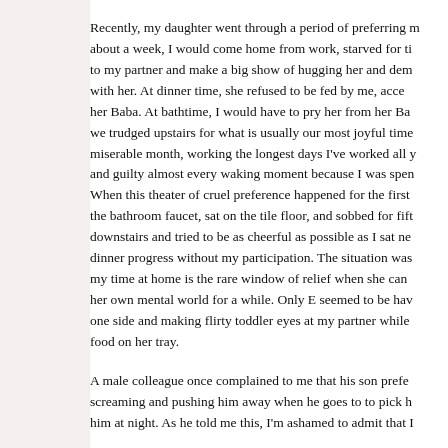Recently, my daughter went through a period of preferring my partner. For about a week, I would come home from work, starved for time with her, go to my partner and make a big show of hugging her and demanding she come with her. At dinner time, she refused to be fed by me, accepting food only from her Baba. At bathtime, I would have to pry her from her Baba's arms as we trudged upstairs for what is usually our most joyful time. It was a miserable month, working the longest days I've worked all year, and sad and guilty almost every waking moment because I was spending them away. When this theater of cruel preference happened for the first time, I turned on the bathroom faucet, sat on the tile floor, and sobbed for fifteen minutes, then went downstairs and tried to be as cheerful as possible as I sat next to her and watched dinner progress without my participation. The situation was made worse because my time at home is the rare window of relief when she can decompress from her own mental world for a while. Only E seemed to be having fun, leaning to one side and making flirty toddler eyes at my partner while smearing her food on her tray.
A male colleague once complained to me that his son prefers his wife, screaming and pushing him away when he goes to to pick him up or soothe him at night. As he told me this, I'm ashamed to admit that I